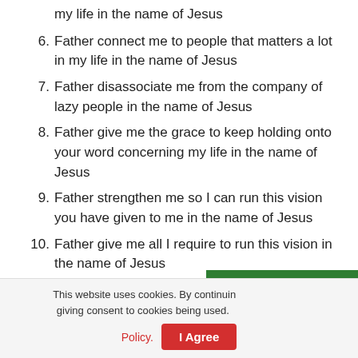my life in the name of Jesus
6. Father connect me to people that matters a lot in my life in the name of Jesus
7. Father disassociate me from the company of lazy people in the name of Jesus
8. Father give me the grace to keep holding onto your word concerning my life in the name of Jesus
9. Father strengthen me so I can run this vision you have given to me in the name of Jesus
10. Father give me all I require to run this vision in the name of Jesus
11. Father, when the time is come for you to glory yourself
This website uses cookies. By continuing giving consent to cookies being used. Policy.
Message Us on WhatsApp
I Agree